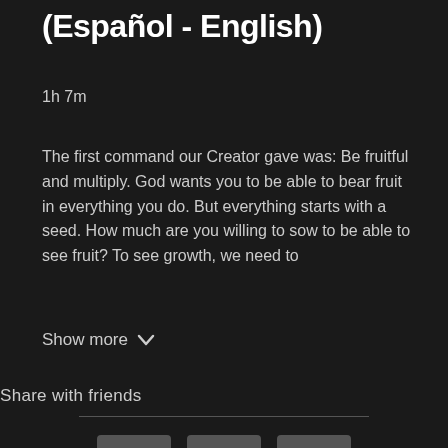(Español - English)
1h 7m
The first command our Creator gave was: Be fruitful and multiply. God wants you to be able to bear fruit in everything you do. But everything starts with a seed. How much are you willing to sow to be able to see fruit? To see growth, we need to
Show more
Share with friends
[Figure (illustration): Three share buttons: Facebook (f), Twitter (bird), and Email (envelope icon)]